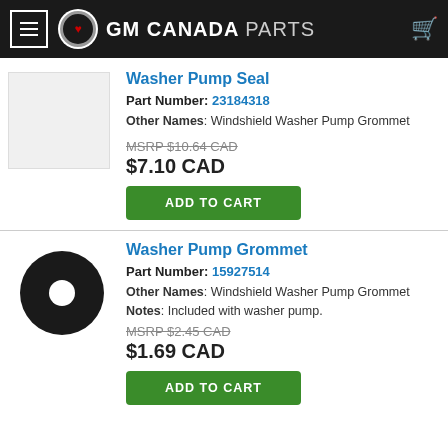GM CANADA PARTS
Washer Pump Seal
Part Number: 23184318
Other Names: Windshield Washer Pump Grommet
MSRP $10.64 CAD
$7.10 CAD
ADD TO CART
Washer Pump Grommet
Part Number: 15927514
Other Names: Windshield Washer Pump Grommet
Notes: Included with washer pump.
MSRP $2.45 CAD
$1.69 CAD
ADD TO CART